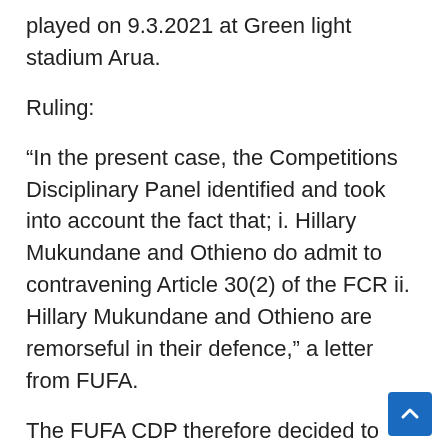played on 9.3.2021 at Green light stadium Arua.
Ruling:
“In the present case, the Competitions Disciplinary Panel identified and took into account the fact that; i. Hillary Mukundane and Othieno do admit to contravening Article 30(2) of the FCR ii. Hillary Mukundane and Othieno are remorseful in their defence,” a letter from FUFA.
The FUFA CDP therefore decided to suspend Hillary Mukundane and Stephen Othieno for 4 Uganda Premier League competition matches effective immediately as of 17.3.2021.